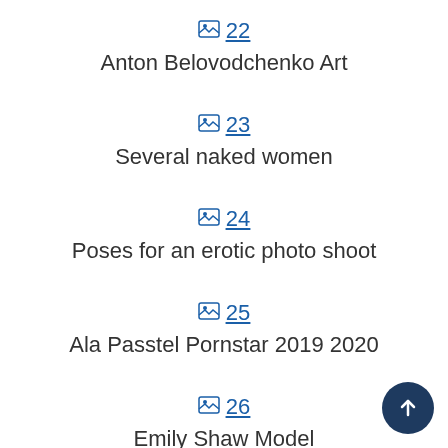🖼 22 Anton Belovodchenko Art
🖼 23 Several naked women
🖼 24 Poses for an erotic photo shoot
🖼 25 Ala Passtel Pornstar 2019 2020
🖼 26 Emily Shaw Model